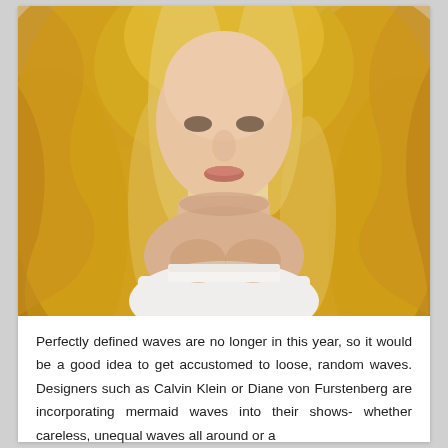[Figure (photo): Close-up photo of a young woman with long, voluminous blonde wavy hair, wearing a white top, photographed from the chest up against a light background.]
Perfectly defined waves are no longer in this year, so it would be a good idea to get accustomed to loose, random waves. Designers such as Calvin Klein or Diane von Furstenberg are incorporating mermaid waves into their shows- whether careless, unequal waves all around or a